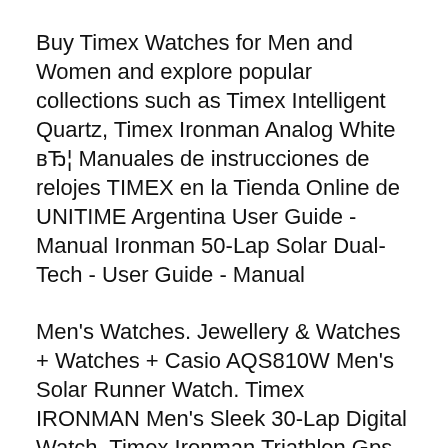Buy Timex Watches for Men and Women and explore popular collections such as Timex Intelligent Quartz, Timex Ironman Analog White вЂ¦ Manuales de instrucciones de relojes TIMEX en la Tienda Online de UNITIME Argentina User Guide - Manual Ironman 50-Lap Solar Dual- Tech - User Guide - Manual
Men's Watches. Jewellery & Watches + Watches + Casio AQS810W Men's Solar Runner Watch. Timex IRONMAN Men's Sleek 30-Lap Digital Watch. Timex Ironman Triathlon Gps Bodylink Manual 330 Timex Watches manual(s) are available for free PDF download, Buy Timex dual tech ironman triathlon 42